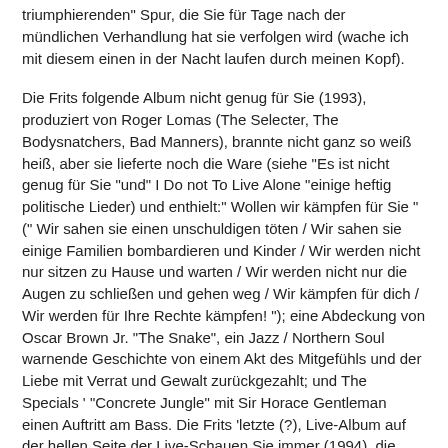triumphierenden" Spur, die Sie für Tage nach der mündlichen Verhandlung hat sie verfolgen wird (wache ich mit diesem einen in der Nacht laufen durch meinen Kopf).
Die Frits folgende Album nicht genug für Sie (1993), produziert von Roger Lomas (The Selecter, The Bodysnatchers, Bad Manners), brannte nicht ganz so weiß heiß, aber sie lieferte noch die Ware (siehe "Es ist nicht genug für Sie "und" I Do not To Live Alone "einige heftig politische Lieder) und enthielt:" Wollen wir kämpfen für Sie " (" Wir sahen sie einen unschuldigen töten / Wir sahen sie einige Familien bombardieren und Kinder / Wir werden nicht nur sitzen zu Hause und warten / Wir werden nicht nur die Augen zu schließen und gehen weg / Wir kämpfen für dich / Wir werden für Ihre Rechte kämpfen! "); eine Abdeckung von Oscar Brown Jr. "The Snake", ein Jazz / Northern Soul warnende Geschichte von einem Akt des Mitgefühls und der Liebe mit Verrat und Gewalt zurückgezahlt; und The Specials ' "Concrete Jungle" mit Sir Horace Gentleman einen Auftritt am Bass. Die Frits 'letzte (?), Live-Album auf der hellen Seite der Live-Schauen Sie immer (1994), die ebenfalls von Lomas aufgenommen, präsentiert die erhebliche Live-Katalette Band (hier vertreten durch